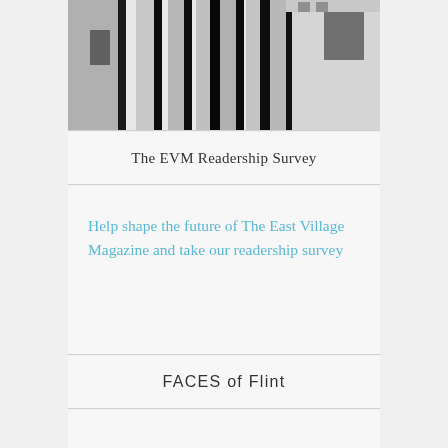[Figure (photo): Black and white architectural photograph of a building facade with vertical columns and geometric patterns]
The EVM Readership Survey
Help shape the future of The East Village Magazine and take our readership survey
FACES of Flint